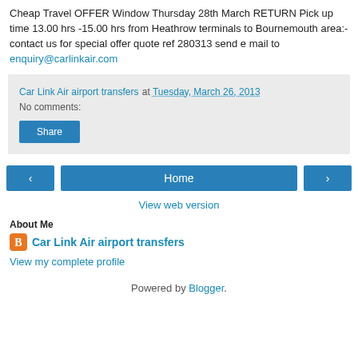Cheap Travel OFFER Window Thursday 28th March RETURN Pick up time 13.00 hrs -15.00 hrs from Heathrow terminals to Bournemouth area:- contact us for special offer quote ref 280313 send e mail to enquiry@carlinkair.com
Car Link Air airport transfers at Tuesday, March 26, 2013
No comments:
Share
Home
View web version
About Me
Car Link Air airport transfers
View my complete profile
Powered by Blogger.